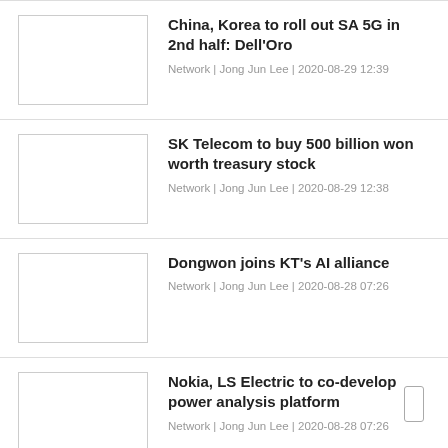China, Korea to roll out SA 5G in 2nd half: Dell'Oro
Network | Jong Jun Lee | 2020-08-29 12:39
SK Telecom to buy 500 billion won worth treasury stock
Network | Jong Jun Lee | 2020-08-29 12:38
Dongwon joins KT's AI alliance
Network | Jong Jun Lee | 2020-08-28 07:26
Nokia, LS Electric to co-develop power analysis platform
Network | Jong Jun Lee | 2020-08-28 07:26